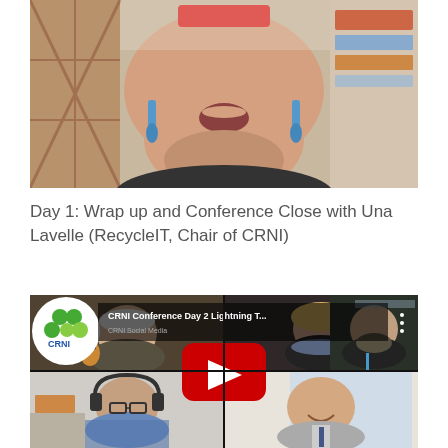[Figure (photo): Video screenshot showing a woman speaking, cropped to lower face and shoulders, wearing blue drop earrings and dark top, with a plaid curtain and shelves visible in background. A red muted/recording indicator is visible at top center.]
Day 1: Wrap up and Conference Close with Una Lavelle (RecycleIT, Chair of CRNI)
[Figure (screenshot): YouTube video thumbnail for 'CRNI Conference Day 2 Lightning T...' showing a video call with four participants: top-left an elderly person, top-center a woman with a scarf, top-right a bearded man in a dark shirt with a lanyard, bottom-left a man with headphones and glasses in a checked shirt, bottom-right a smiling man in a suit. The CRNI logo (green circles, blue text) is visible top-left. A red YouTube play button is centered on the image.]